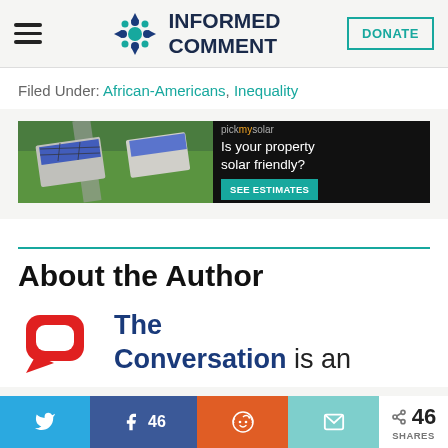INFORMED COMMENT | DONATE
Filed Under: African-Americans, Inequality
[Figure (infographic): Advertisement banner for pickmysolar: aerial photo of houses with solar panels, text 'Is your property solar friendly?' with 'SEE ESTIMATES' button]
About the Author
The Conversation is an
Share buttons: Twitter, Facebook 46, Reddit, Email | 46 SHARES